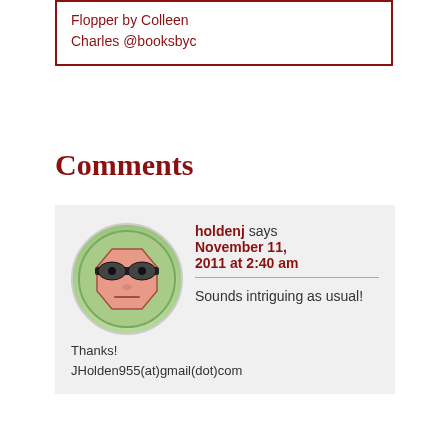Flopper by Colleen Charles @booksbyc
Comments
[Figure (illustration): Cartoon avatar of a grumpy-looking hexagonal face wearing sunglasses, on a green circular background]
holdenj says November 11, 2011 at 2:40 am Sounds intriguing as usual! Thanks! JHolden955(at)gmail(dot)com